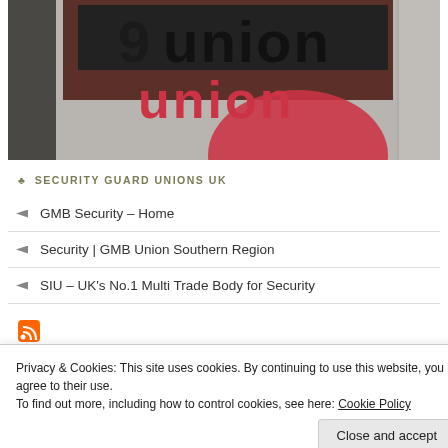[Figure (photo): Photo of a building sign showing '9union' in large black and red letters, with a red circle/dot below, shot from a low angle against a light-coloured building facade.]
SECURITY GUARD UNIONS UK
GMB Security – Home
Security | GMB Union Southern Region
SIU – UK's No.1 Multi Trade Body for Security
Privacy & Cookies: This site uses cookies. By continuing to use this website, you agree to their use.
To find out more, including how to control cookies, see here: Cookie Policy
Close and accept